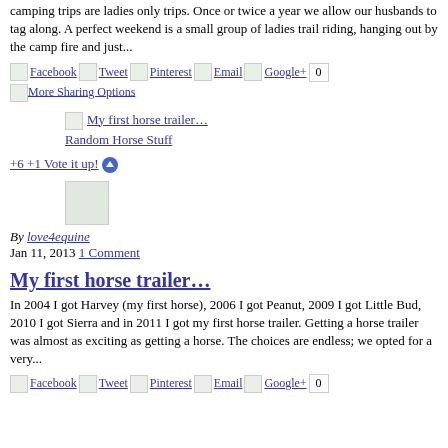camping trips are ladies only trips. Once or twice a year we allow our husbands to tag along. A perfect weekend is a small group of ladies trail riding, hanging out by the camp fire and just...
Facebook Tweet Pinterest Email Google+ 0 More Sharing Options
My first horse trailer… Random Horse Stuff
+6 +1 Vote it up!
[Figure (photo): love4equine avatar image]
By love4equine
Jan 11, 2013 1 Comment
My first horse trailer…
In 2004 I got Harvey (my first horse), 2006 I got Peanut, 2009 I got Little Bud, 2010 I got Sierra and in 2011 I got my first horse trailer. Getting a horse trailer was almost as exciting as getting a horse. The choices are endless; we opted for a very...
Facebook Tweet Pinterest Email Google+ 0